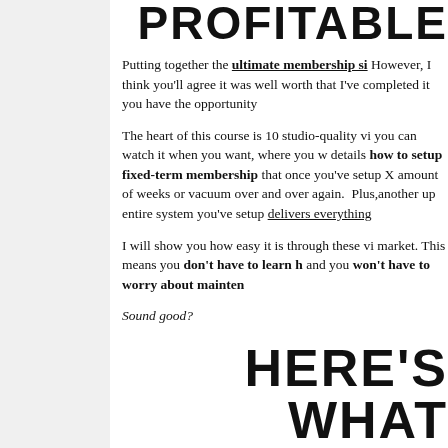PROFITABLE
Putting together the ultimate membership si... However, I think you'll agree it was well worth... that I've completed it you have the opportunity...
The heart of this course is 10 studio-quality vi... you can watch it when you want, where you w... details how to setup fixed-term membership... that once you've setup X amount of weeks or... vacuum over and over again. Plus,another up... entire system you've setup delivers everything...
I will show you how easy it is through these vi... market. This means you don't have to learn h... and you won't have to worry about mainten...
Sound good?
HERE'S WHAT